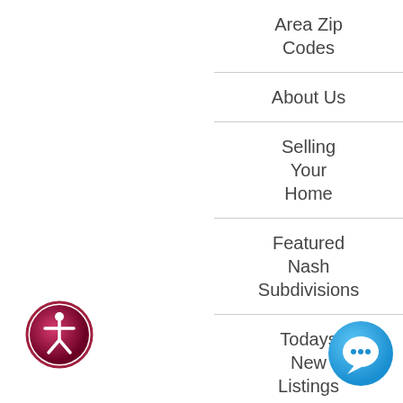Area Zip Codes
About Us
Selling Your Home
Featured Nash Subdivisions
Todays New Listings
Communities in Nash
[Figure (illustration): Accessibility icon: circular button with figure of a person, gradient from dark pink to maroon]
[Figure (illustration): Chat bubble icon: circular blue button with a speech/chat bubble icon]